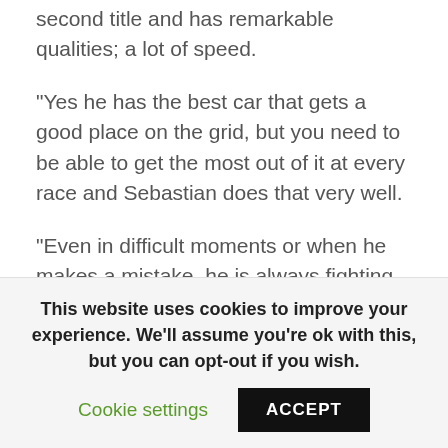second title and has remarkable qualities; a lot of speed.
"Yes he has the best car that gets a good place on the grid, but you need to be able to get the most out of it at every race and Sebastian does that very well.
"Even in difficult moments or when he makes a mistake, he is always fighting for the win. It is proof of his great qualities," added the Spaniard.
Alonso however also has great respect for Vettel's team, including the famous designer of the Red Bull car, Adrian Newey.
This website uses cookies to improve your experience. We'll assume you're ok with this, but you can opt-out if you wish.